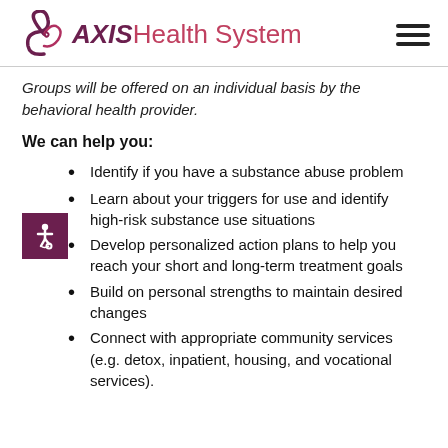[Figure (logo): AXIS Health System logo with swirl graphic in purple/red and text 'AXIS Health System']
Groups will be offered on an individual basis by the behavioral health provider.
We can help you:
Identify if you have a substance abuse problem
Learn about your triggers for use and identify high-risk substance use situations
Develop personalized action plans to help you reach your short and long-term treatment goals
Build on personal strengths to maintain desired changes
Connect with appropriate community services (e.g. detox, inpatient, housing, and vocational services).